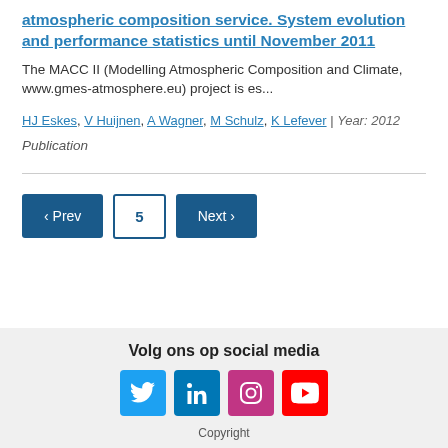atmospheric composition service. System evolution and performance statistics until November 2011
The MACC II (Modelling Atmospheric Composition and Climate, www.gmes-atmosphere.eu) project is es...
HJ Eskes, V Huijnen, A Wagner, M Schulz, K Lefever | Year: 2012
Publication
[Figure (other): Pagination controls: Prev button, page number 5, Next button]
Volg ons op social media
[Figure (infographic): Social media icons: Twitter (blue), LinkedIn (blue), Instagram (pink/purple), YouTube (red)]
Copyright